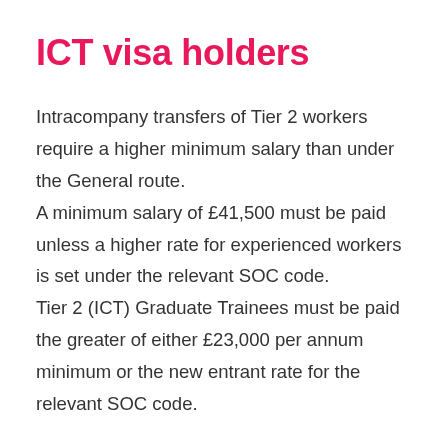ICT visa holders
Intracompany transfers of Tier 2 workers require a higher minimum salary than under the General route.
A minimum salary of £41,500 must be paid unless a higher rate for experienced workers is set under the relevant SOC code.
Tier 2 (ICT) Graduate Trainees must be paid the greater of either £23,000 per annum minimum or the new entrant rate for the relevant SOC code.